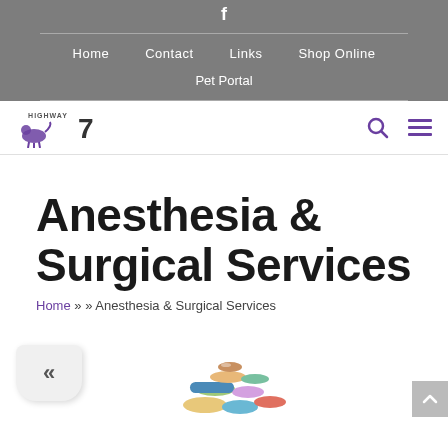f
Home   Contact   Links   Shop Online   Pet Portal
[Figure (logo): Highway 7 Animal Hospital logo with stylized dog/cat silhouette and the number 7]
Anesthesia & Surgical Services
Home » » Anesthesia & Surgical Services
[Figure (illustration): Colorful pile of various pharmaceutical pills and capsules]